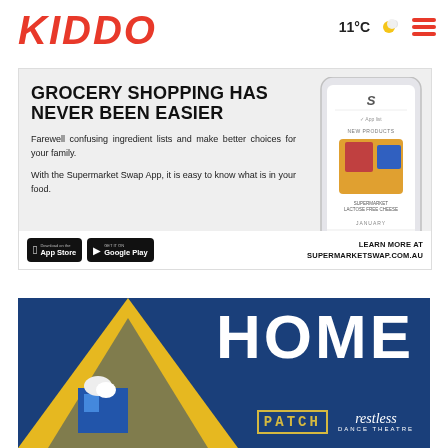KIDDO
11°C
[Figure (infographic): Supermarket Swap App advertisement. Headline: GROCERY SHOPPING HAS NEVER BEEN EASIER. Body: Farewell confusing ingredient lists and make better choices for your family. With the Supermarket Swap App, it is easy to know what is in your food. Shows a phone mockup with app interface. App Store and Google Play badges. LEARN MORE AT SUPERMARKETSWAP.COM.AU]
[Figure (infographic): HOME Patch restless dance theatre advertisement on dark blue background with yellow triangle and illustrated figure.]